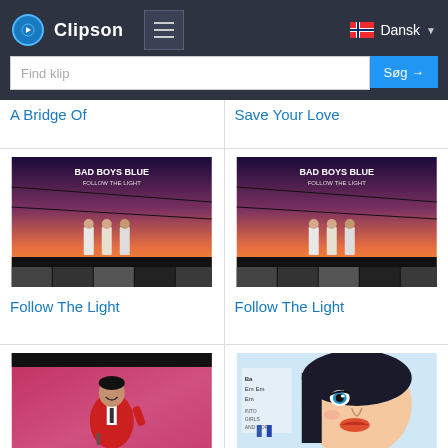Clipson — navigation bar with search (Find klip / Søg →) and language selector (Dansk)
A Bridge Of
Save Your Love
[Figure (photo): Bad Boys Blue – Follow The Light album cover, showing three men in white suits against a sunset sky]
Follow The Light
[Figure (photo): Bad Boys Blue – Follow The Light album cover (duplicate), showing three men in white suits against a sunset sky]
Follow The Light
[Figure (photo): Queen Of Hearts – performer in red jacket on stage]
Queen Of Hearts
[Figure (illustration): For You Love – cartoon-style illustration of a woman's face with blue eyes]
For You Love